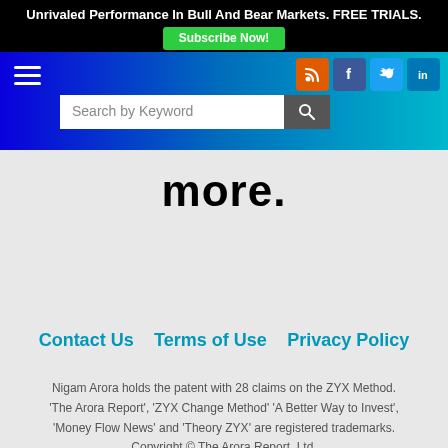Unrivaled Performance In Bull And Bear Markets. FREE TRIALS. Subscribe Now!
[Figure (screenshot): Navigation bar with hamburger menu, social media icons (RSS, Facebook, Twitter, LinkedIn), and a keyword search bar on a blue-to-teal gradient background]
more.
Contact Us   Terms of Use   Privacy Policy
Nigam Arora holds the patent with 28 claims on the ZYX Method. 'The Arora Report', 'ZYX Change Method' 'A Better Way to Invest', 'Money Flow News' and 'Theory ZYX' are registered trademarks. Copyright © The Arora Report, Ltd.